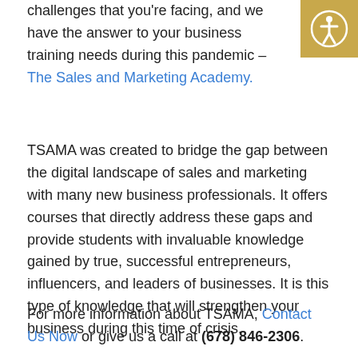challenges that you're facing, and we have the answer to your business training needs during this pandemic – The Sales and Marketing Academy.
[Figure (other): Accessibility icon button — gold/tan square background with white circle-person (accessibility symbol) in the center, top-right corner of page.]
TSAMA was created to bridge the gap between the digital landscape of sales and marketing with many new business professionals. It offers courses that directly address these gaps and provide students with invaluable knowledge gained by true, successful entrepreneurs, influencers, and leaders of businesses. It is this type of knowledge that will strengthen your business during this time of crisis.
For more information about TSAMA, Contact Us Now or give us a call at (678) 846-2306.